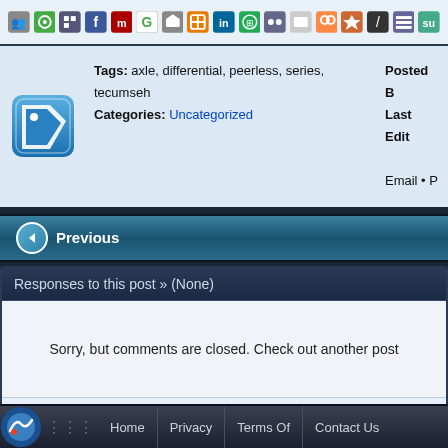[Figure (screenshot): Social sharing icons toolbar with various service logos]
Tags: axle, differential, peerless, series, tecumseh
Categories: Uncategorized
Posted B...
Last Edit...
Email • P...
Previous
Responses to this post » (None)
Sorry, but comments are closed. Check out another post
Comment Meta:
RSS Feed for comments
More Options ...
Home  Privacy  Terms Of  Contact Us